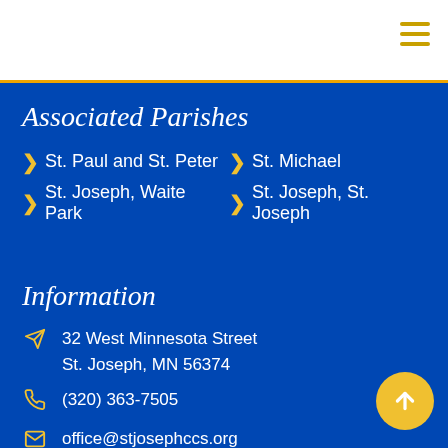≡
Associated Parishes
St. Paul and St. Peter
St. Michael
St. Joseph, Waite Park
St. Joseph, St. Joseph
Information
32 West Minnesota Street
St. Joseph, MN 56374
(320) 363-7505
office@stjosephccs.org